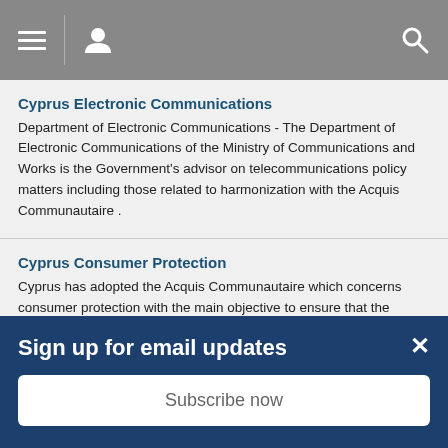Navigation bar with menu, user, and search icons
Cyprus Electronic Communications
Department of Electronic Communications - The Department of Electronic Communications of the Ministry of Communications and Works is the Government's advisor on telecommunications policy matters including those related to harmonization with the Acquis Communautaire .
Cyprus Consumer Protection
Cyprus has adopted the Acquis Communautaire which concerns consumer protection with the main objective to ensure that the Cypriot consumer enjoys the same high level of consumer protection and safety as exists in the European Union.
Cyprus State Archives
The Cyprus Public Record Office was established in 1979 under the
Sign up for email updates
Subscribe now